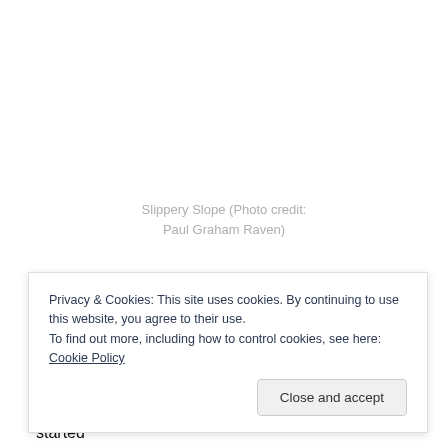[Figure (photo): White/blank area representing a photo of a slippery slope]
Slippery Slope (Photo credit: Paul Graham Raven)
Privacy & Cookies: This site uses cookies. By continuing to use this website, you agree to their use.
To find out more, including how to control cookies, see here: Cookie Policy
they seldom see themselves that way.  Today, I started